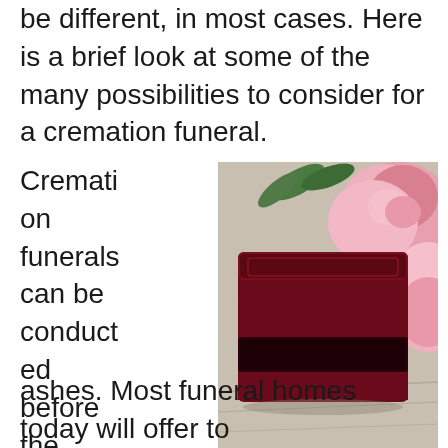be different, in most cases. Here is a brief look at some of the many possibilities to consider for a cremation funeral.
Cremation funerals can be conducted before the body has been converted to ashes. Most funeral homes today will offer to
[Figure (photo): A dark red/maroon wooden cremation urn box placed on a rustic wooden surface surrounded by pink roses and green leaves.]